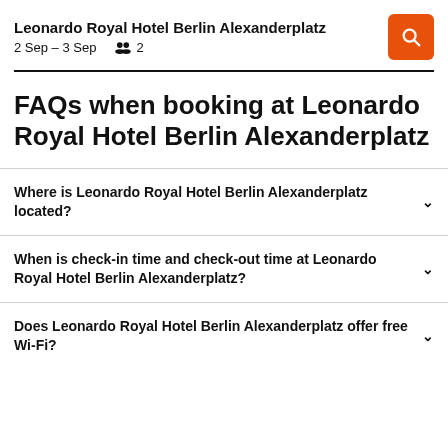Leonardo Royal Hotel Berlin Alexanderplatz
2 Sep – 3 Sep  👥 2
FAQs when booking at Leonardo Royal Hotel Berlin Alexanderplatz
Where is Leonardo Royal Hotel Berlin Alexanderplatz located?
When is check-in time and check-out time at Leonardo Royal Hotel Berlin Alexanderplatz?
Does Leonardo Royal Hotel Berlin Alexanderplatz offer free Wi-Fi?